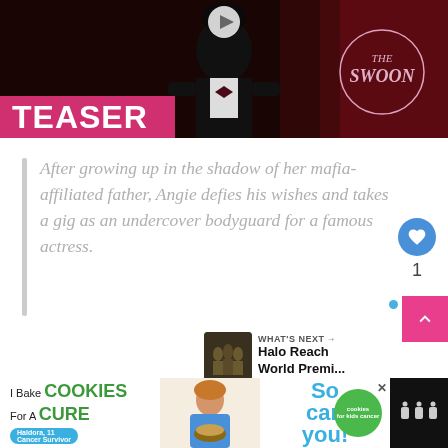[Figure (screenshot): Video thumbnail showing a man in a tuxedo with bow tie, 'THE SWOON' logo circle in the top right, a play button at the top center, and a pink 'TEASER' label at the bottom left]
After growing up in the shadow of her mafia-affiliated father, Angie defies his wishes and takes a gig as an undercover bodyguard for a famous actress.
[Figure (screenshot): Blue circular heart/like button with count of 1, pink scroll-up button, and 'WHAT'S NEXT → Halo Reach World Premi...' panel with thumbnail]
[Figure (infographic): Advertisement banner: 'I Bake COOKIES For A CURE' with 'Haldora, 11 Cancer Survivor', photo of girl with cookies, 'So can you!' text, green cookies logo, and close button. Right side shows broadcaster logo.]